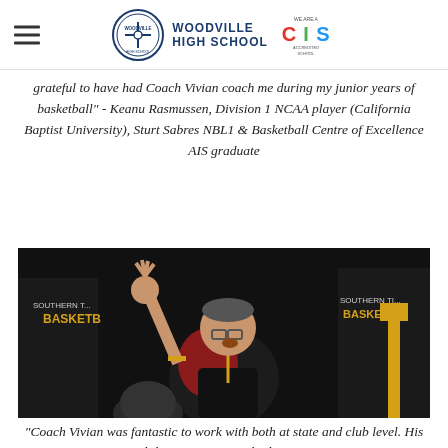Woodville High School | CIS Accredited School
grateful to have had Coach Vivian coach me during my junior years of basketball" - Keanu Rasmussen, Division 1 NCAA player (California Baptist University), Sturt Sabres NBL1 & Basketball Centre of Excellence AIS graduate
[Figure (photo): A basketball coach raising his hand and gesturing expressively in front of players wearing Southern Tigers Basketball uniforms. The coach appears to be speaking animatedly during a game or training session.]
"Coach Vivian was fantastic to work with both at state and club level. His ability to connect with players...